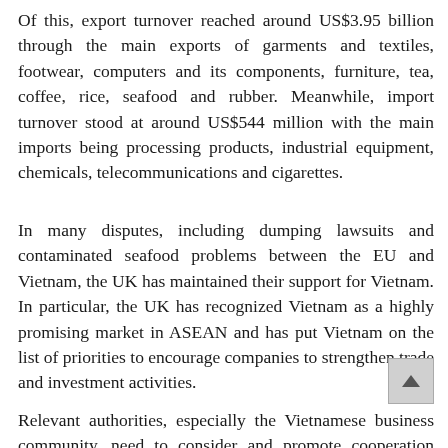Of this, export turnover reached around US$3.95 billion through the main exports of garments and textiles, footwear, computers and its components, furniture, tea, coffee, rice, seafood and rubber. Meanwhile, import turnover stood at around US$544 million with the main imports being processing products, industrial equipment, chemicals, telecommunications and cigarettes.
In many disputes, including dumping lawsuits and contaminated seafood problems between the EU and Vietnam, the UK has maintained their support for Vietnam. In particular, the UK has recognized Vietnam as a highly promising market in ASEAN and has put Vietnam on the list of priorities to encourage companies to strengthen trade and investment activities.
Relevant authorities, especially the Vietnamese business community, need to consider and promote cooperation with